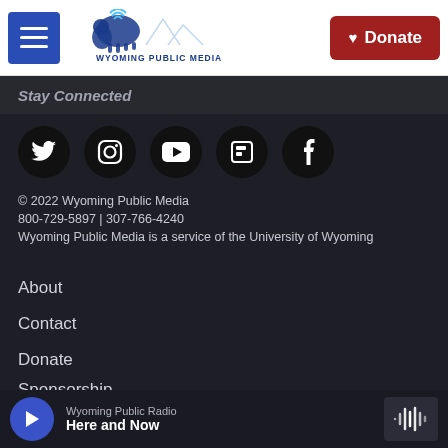Wyoming Public Media | Donate
Stay Connected
[Figure (illustration): Row of five social media icons (Twitter, Instagram, YouTube, Flipboard, Facebook) as white icons on black circles]
© 2022 Wyoming Public Media
800-729-5897 | 307-766-4240
Wyoming Public Media is a service of the University of Wyoming
About
Contact
Donate
Sponsorship
Staff
Wyoming Public Radio — Here and Now